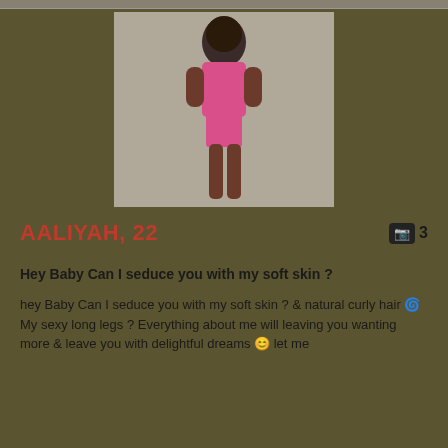[Figure (photo): A woman in a pink outfit posing against a light background]
AALIYAH, 22
Hey Baby Can I seduce you with my soft skin ?
hey Baby Can I seduce you with my soft skin ? & natural curly hair 🌀 My sexy long legs ? Everything about me will leaving you wanting more & leave you with delightful dreams 😊  let me